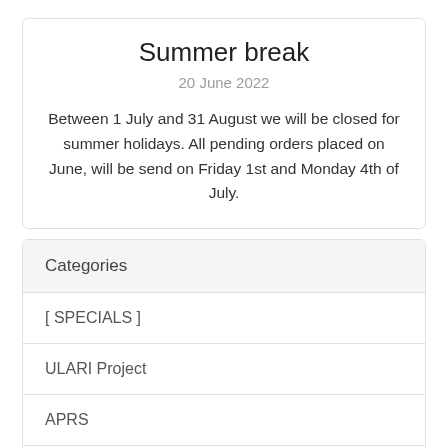Summer break
20 June 2022
Between 1 July and 31 August we will be closed for summer holidays. All pending orders placed on June, will be send on Friday 1st and Monday 4th of July.
Categories
[ SPECIALS ]
ULARI Project
APRS
APRS with radio
GPS